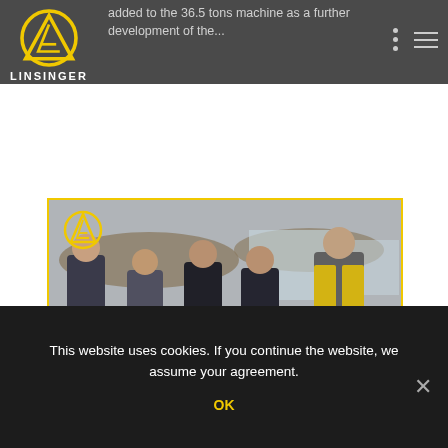Linsinger logo and navigation header
added to the 36.5 tons machine as a further development of the...
[Figure (photo): Group photo of five people standing indoors holding certificates, in a modern office/lobby with curved ceiling elements. Linsinger logo visible top-left of photo. People wearing dark and yellow/black work clothing.]
This website uses cookies. If you continue the website, we assume your agreement.
OK